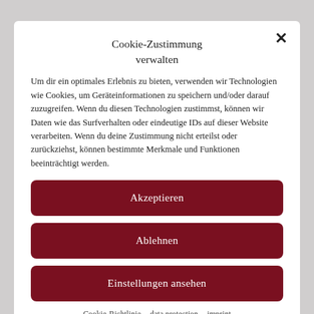Cookie-Zustimmung verwalten
Um dir ein optimales Erlebnis zu bieten, verwenden wir Technologien wie Cookies, um Geräteinformationen zu speichern und/oder darauf zuzugreifen. Wenn du diesen Technologien zustimmst, können wir Daten wie das Surfverhalten oder eindeutige IDs auf dieser Website verarbeiten. Wenn du deine Zustimmung nicht erteilst oder zurückziehst, können bestimmte Merkmale und Funktionen beeinträchtigt werden.
Akzeptieren
Ablehnen
Einstellungen ansehen
Cookie-Richtlinie   data protection   imprint